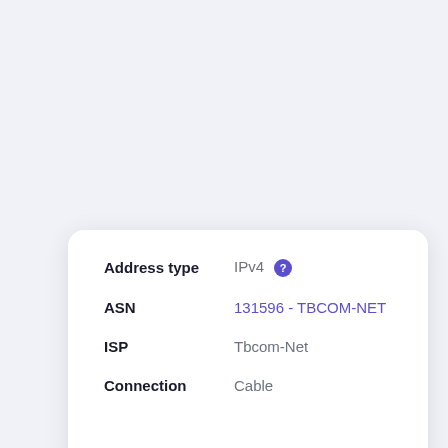| Field | Value |
| --- | --- |
| Address type | IPv4 |
| ASN | 131596 - TBCOM-NET |
| ISP | Tbcom-Net |
| Connection | Cable |